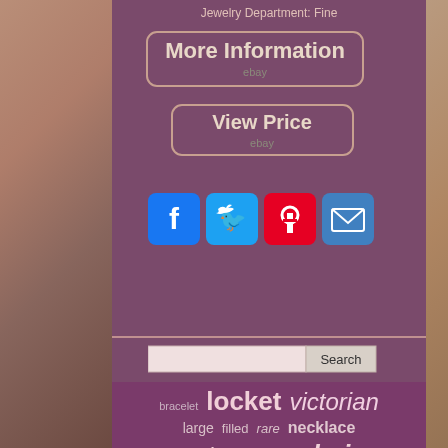Jewelry Department: Fine
[Figure (screenshot): More Information button with eBay branding, rounded rectangle border on dark mauve background]
[Figure (screenshot): View Price button with eBay branding, rounded rectangle border on dark mauve background]
[Figure (infographic): Row of four social media share icons: Facebook (blue), Twitter (blue), Pinterest (red), Email (blue)]
[Figure (screenshot): Search bar with input field and Search button]
bracelet locket victorian large filled rare necklace antique black hair